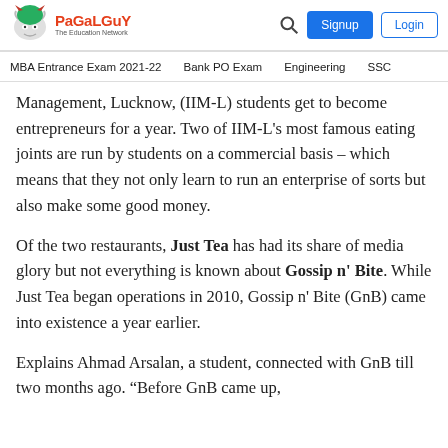PaGaLGuY – The Education Network | Signup | Login
MBA Entrance Exam 2021-22 | Bank PO Exam | Engineering | SSC
Management, Lucknow, (IIM-L) students get to become entrepreneurs for a year. Two of IIM-L's most famous eating joints are run by students on a commercial basis – which means that they not only learn to run an enterprise of sorts but also make some good money.
Of the two restaurants, Just Tea has had its share of media glory but not everything is known about Gossip n' Bite. While Just Tea began operations in 2010, Gossip n' Bite (GnB) came into existence a year earlier.
Explains Ahmad Arsalan, a student, connected with GnB till two months ago. "Before GnB came up,